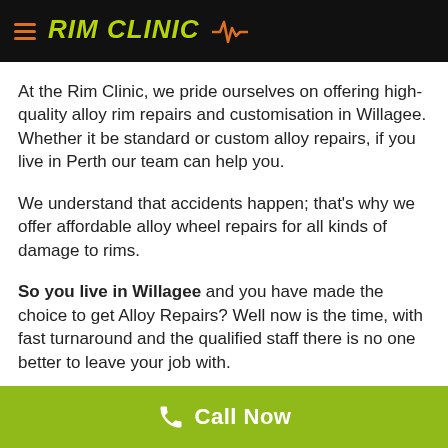RIM CLINIC
At the Rim Clinic, we pride ourselves on offering high-quality alloy rim repairs and customisation in Willagee. Whether it be standard or custom alloy repairs, if you live in Perth our team can help you.
We understand that accidents happen; that’s why we offer affordable alloy wheel repairs for all kinds of damage to rims.
So you live in Willagee and you have made the choice to get Alloy Repairs? Well now is the time, with fast turnaround and the qualified staff there is no one better to leave your job with.
Want to improve the look and resale value of your car in Willagee? One easy way is by making your vehicle’s rims like new again!
Call Now